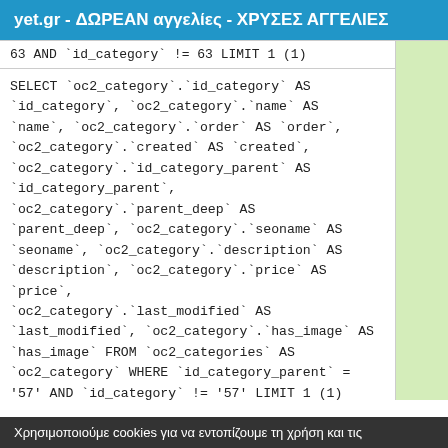yet.gr - ΔΩΡΕΑΝ αγγελίες - ΧΡΥΣΕΣ ΑΓΓΕΛΙΕΣ
63 AND `id_category` != 63 LIMIT 1 (1)
SELECT `oc2_category`.`id_category` AS `id_category`, `oc2_category`.`name` AS `name`, `oc2_category`.`order` AS `order`, `oc2_category`.`created` AS `created`, `oc2_category`.`id_category_parent` AS `id_category_parent`, `oc2_category`.`parent_deep` AS `parent_deep`, `oc2_category`.`seoname` AS `seoname`, `oc2_category`.`description` AS `description`, `oc2_category`.`price` AS `price`, `oc2_category`.`last_modified` AS `last_modified`, `oc2_category`.`has_image` AS `has_image` FROM `oc2_categories` AS `oc2_category` WHERE `id_category_parent` = '57' AND `id_category` != '57' LIMIT 1 (1)
Χρησιμοποιούμε cookies για να εντοπίζουμε τη χρήση και τις